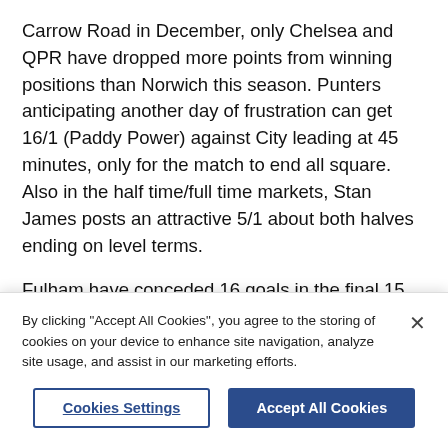Carrow Road in December, only Chelsea and QPR have dropped more points from winning positions than Norwich this season. Punters anticipating another day of frustration can get 16/1 (Paddy Power) against City leading at 45 minutes, only for the match to end all square. Also in the half time/full time markets, Stan James posts an attractive 5/1 about both halves ending on level terms.
Fulham have conceded 16 goals in the final 15 minutes of their league games this season, more than any other team during this period. Backers expecting a late strike in a tight match may, therefore, fancy the [cut off]
By clicking "Accept All Cookies", you agree to the storing of cookies on your device to enhance site navigation, analyze site usage, and assist in our marketing efforts.